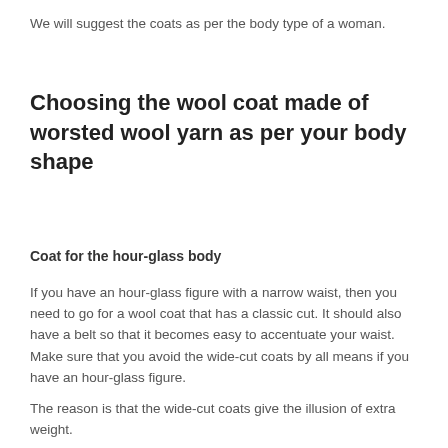We will suggest the coats as per the body type of a woman.
Choosing the wool coat made of worsted wool yarn as per your body shape
Coat for the hour-glass body
If you have an hour-glass figure with a narrow waist, then you need to go for a wool coat that has a classic cut. It should also have a belt so that it becomes easy to accentuate your waist. Make sure that you avoid the wide-cut coats by all means if you have an hour-glass figure.
The reason is that the wide-cut coats give the illusion of extra weight.